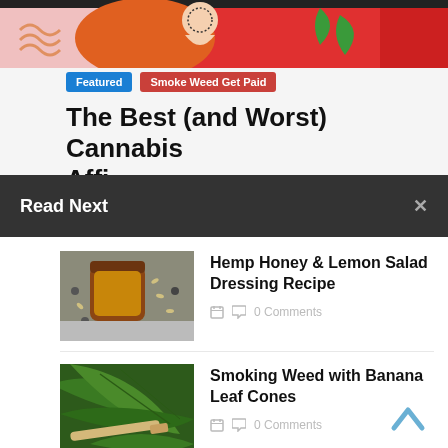[Figure (illustration): Colorful decorative banner with abstract shapes in red, orange, pink and green on dark background]
Featured
Smoke Weed Get Paid
The Best (and Worst) Cannabis Affiliate P...
Read Next
[Figure (photo): Glass jar of honey with hemp seeds scattered around on a surface]
Hemp Honey & Lemon Salad Dressing Recipe
0 Comments
[Figure (photo): Large tropical green banana leaves with a rolled cone/cigarette resting on them]
Smoking Weed with Banana Leaf Cones
0 Comments